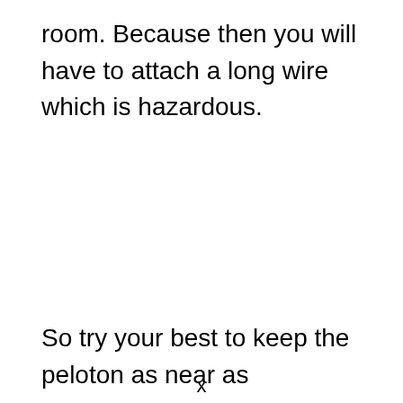room. Because then you will have to attach a long wire which is hazardous.
So try your best to keep the peloton as near as
x